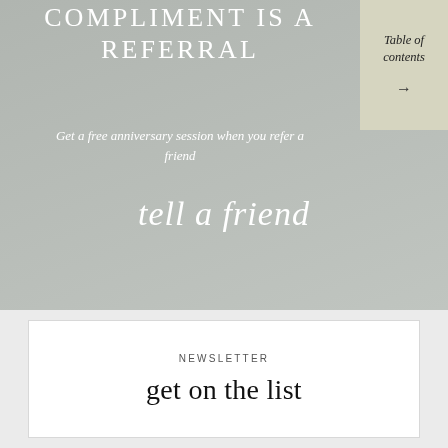COMPLIMENT IS A REFERRAL
Get a free anniversary session when you refer a friend
tell a friend
[Figure (other): Table of contents tab with arrow pointing right]
NEWSLETTER
get on the list